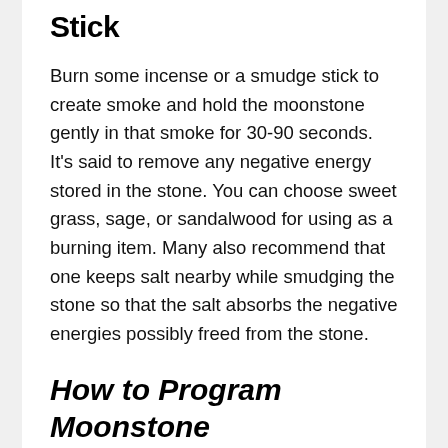Stick
Burn some incense or a smudge stick to create smoke and hold the moonstone gently in that smoke for 30-90 seconds. It's said to remove any negative energy stored in the stone. You can choose sweet grass, sage, or sandalwood for using as a burning item. Many also recommend that one keeps salt nearby while smudging the stone so that the salt absorbs the negative energies possibly freed from the stone.
How to Program Moonstone
Knowing how to program or charge a moonstone is required for empowering it with fresh energy and enhancing its natural